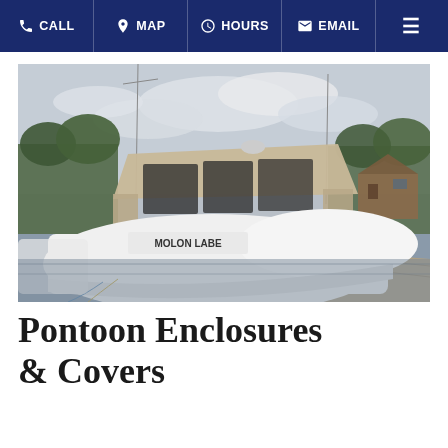CALL | MAP | HOURS | EMAIL
[Figure (photo): A white motorboat named 'MOLON LABE' docked at a marina. The boat has a tan canvas enclosure over the cockpit area. Trees, sailboats, and a wooden building are visible in the background.]
Pontoon Enclosures & Covers